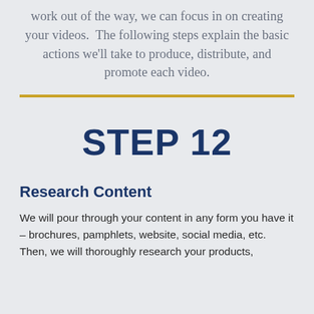work out of the way, we can focus in on creating your videos.  The following steps explain the basic actions we'll take to produce, distribute, and promote each video.
STEP 12
Research Content
We will pour through your content in any form you have it – brochures, pamphlets, website, social media, etc.  Then, we will thoroughly research your products,